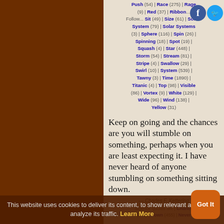Push (54) | Race (275) | Rage (9) | Red (37) | Ribbon... Follow... Sit (49) | Size (61) | Solar... System (79) | Solar Systems (3) | Sphere (116) | Spin (26) | Spinning (18) | Spot (19) | Squash (4) | Star (448) | Storm (54) | Stream (81) | Stripe (4) | Swallow (29) | Swirl (10) | System (539) | Tawny (3) | Time (1890) | Titanic (4) | Top (98) | Visible (86) | Vortex (9) | White (129) | Wide (96) | Wind (138) | Yellow (31)
Keep on going and the chances are you will stumble on something, perhaps when you are least expecting it. I have never heard of anyone stumbling on something sitting down.
Charles F. Kettering
Science quotes on: | Chance (240) | Down (455) | Never
This website uses cookies to deliver its content, to show relevant ads and to analyze its traffic. Learn More